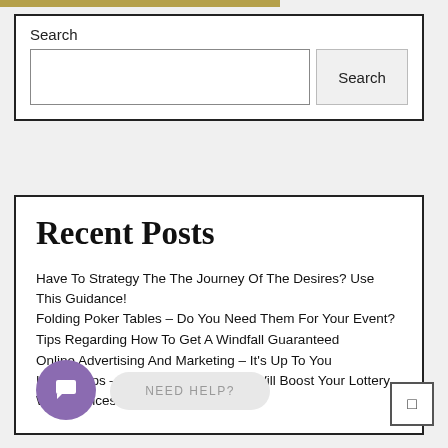[Figure (other): Gold/olive colored horizontal bar at top of page]
Search
[Figure (other): Search input box with Search button]
Recent Posts
Have To Strategy The The Journey Of The Desires? Use This Guidance!
Folding Poker Tables – Do You Need Them For Your Event?
Tips Regarding How To Get A Windfall Guaranteed
Online Advertising And Marketing – It's Up To You
Lottery Tips – 5 Key Strategies That Will Boost Your Lottery Win Chances
[Figure (other): Purple chat bubble icon with NEED HELP? button and scroll-to-top button]